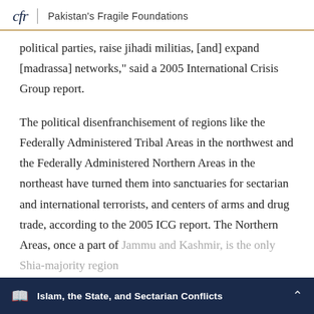cfr | Pakistan's Fragile Foundations
political parties, raise jihadi militias, [and] expand [madrassa] networks," said a 2005 International Crisis Group report.
The political disenfranchisement of regions like the Federally Administered Tribal Areas in the northwest and the Federally Administered Northern Areas in the northeast have turned them into sanctuaries for sectarian and international terrorists, and centers of arms and drug trade, according to the 2005 ICG report. The Northern Areas, once a part of Jammu and Kashmir, is the only Shia-majority region
Islam, the State, and Sectarian Conflicts